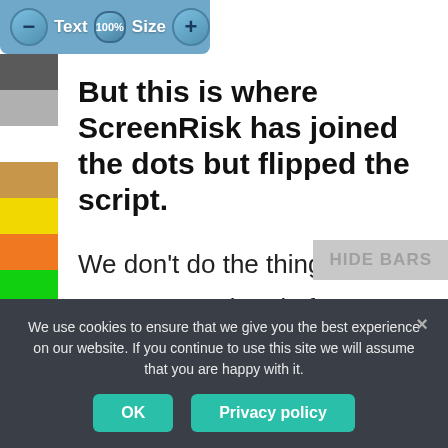[Figure (screenshot): App toolbar with minus button, Text label, 100% percentage badge, Size label, and plus button on blue background]
[Figure (screenshot): Left vertical color palette with swatches: dark gray, light gray, white, orange/tan, yellow, orange, green, cyan, magenta, light pink/salmon]
But this is where ScreenRisk has joined the dots but flipped the script.
HIDE BARS
We don't do the things we are supposed to do for our health, and in 2021 our lives
We use cookies to ensure that we give you the best experience on our website. If you continue to use this site we will assume that you are happy with it.